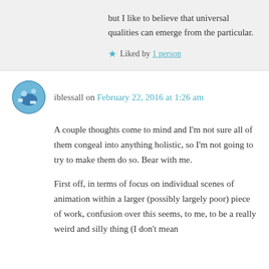but I like to believe that universal qualities can emerge from the particular.
Liked by 1 person
iblessall on February 22, 2016 at 1:26 am
A couple thoughts come to mind and I'm not sure all of them congeal into anything holistic, so I'm not going to try to make them do so. Bear with me.
First off, in terms of focus on individual scenes of animation within a larger (possibly largely poor) piece of work, confusion over this seems, to me, to be a really weird and silly thing (I don't mean